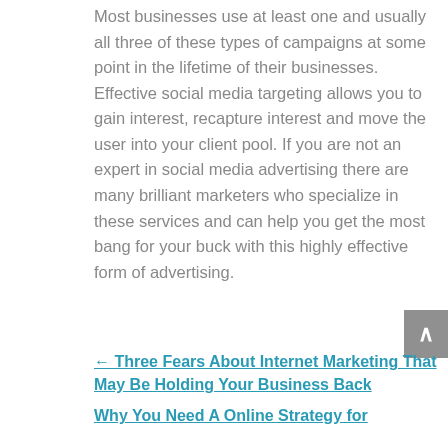Most businesses use at least one and usually all three of these types of campaigns at some point in the lifetime of their businesses. Effective social media targeting allows you to gain interest, recapture interest and move the user into your client pool. If you are not an expert in social media advertising there are many brilliant marketers who specialize in these services and can help you get the most bang for your buck with this highly effective form of advertising.
← Three Fears About Internet Marketing That May Be Holding Your Business Back
Why You Need A Online Strategy for